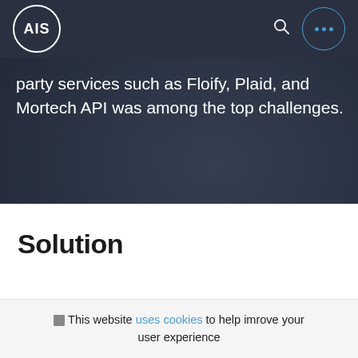AIS
party services such as Floify, Plaid, and Mortech API was among the top challenges.
Solution
This website uses cookies to help imrove your user experience